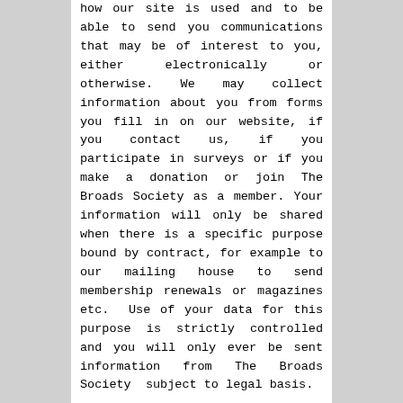how our site is used and to be able to send you communications that may be of interest to you, either electronically or otherwise. We may collect information about you from forms you fill in on our website, if you contact us, if you participate in surveys or if you make a donation or join The Broads Society as a member. Your information will only be shared when there is a specific purpose bound by contract, for example to our mailing house to send membership renewals or magazines etc.  Use of your data for this purpose is strictly controlled and you will only ever be sent information from The Broads Society  subject to legal basis.